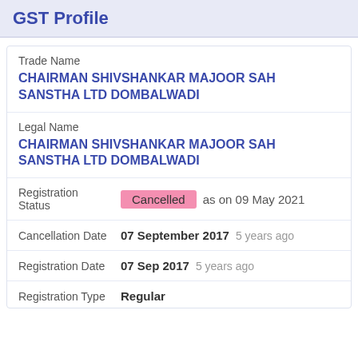GST Profile
Trade Name
CHAIRMAN SHIVSHANKAR MAJOOR SAH SANSTHA LTD DOMBALWADI
Legal Name
CHAIRMAN SHIVSHANKAR MAJOOR SAH SANSTHA LTD DOMBALWADI
Registration Status  Cancelled  as on 09 May 2021
Cancellation Date  07 September 2017  5 years ago
Registration Date  07 Sep 2017  5 years ago
Registration Type  Regular